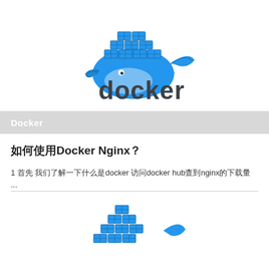[Figure (logo): Docker logo: blue whale carrying stacked containers on its back, with 'docker' text below in dark rounded font]
Docker
如何使用Docker Nginx？
1 首先 我们了解一下什么是docker 访问docker hub查到nginx的下载量 ...
[Figure (logo): Partial Docker logo at bottom of page showing stacked containers and whale tail]